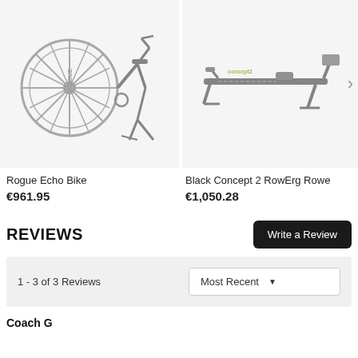[Figure (photo): Rogue Echo Bike air bike on white/light gray background]
[Figure (photo): Black Concept 2 RowErg Rower on white/light gray background with right arrow navigation button]
Rogue Echo Bike
€961.95
Black Concept 2 RowErg Rowe
€1,050.28
REVIEWS
Write a Review
1 - 3 of 3 Reviews
Most Recent
Coach G